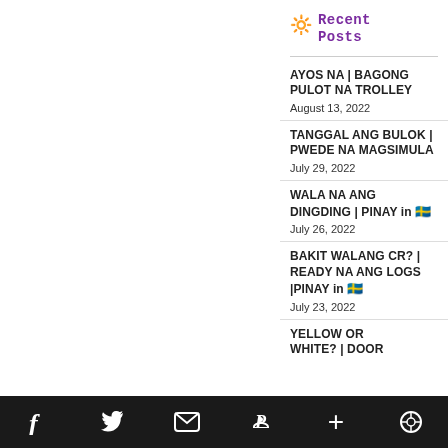🔆 Recent Posts
AYOS NA | BAGONG PULOT NA TROLLEY
August 13, 2022
TANGGAL ANG BULOK | PWEDE NA MAGSIMULA
July 29, 2022
WALA NA ANG DINGDING | PINAY in 🇸🇪
July 26, 2022
BAKIT WALANG CR? | READY NA ANG LOGS |PINAY in 🇸🇪
July 23, 2022
YELLOW OR WHITE? | DOOR
f  t  mail  p  +  wp